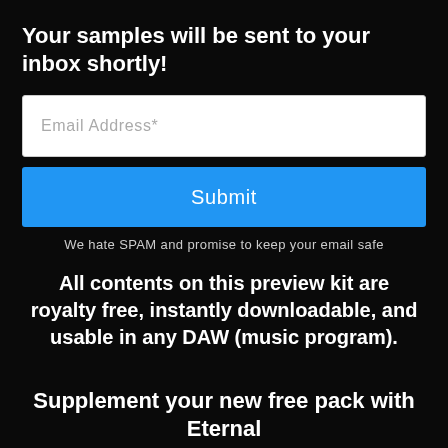Your samples will be sent to your inbox shortly!
Email Address*
Submit
We hate SPAM and promise to keep your email safe
All contents on this preview kit are royalty free, instantly downloadable, and usable in any DAW (music program).
Supplement your new free pack with Eternal